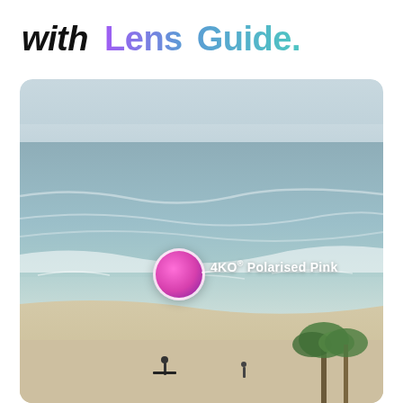with Lens Guide.
[Figure (photo): Aerial beach scene with ocean waves, sand, surfers, and palm trees. Overlaid with a pink circular lens color swatch labeled '4KO® Polarised Pink' and an 'ENTER GUIDE' button.]